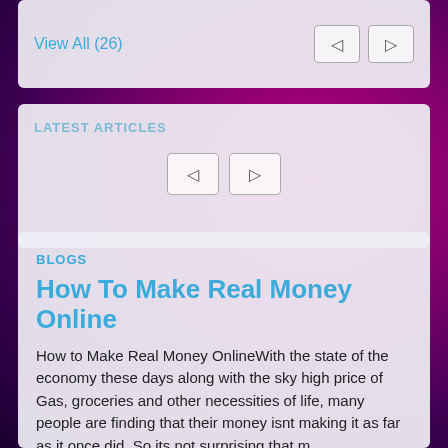View All (26)
LATEST ARTICLES
BLOGS
How To Make Real Money Online
How to Make Real Money OnlineWith the state of the economy these days along with the sky high price of Gas, groceries and other necessities of life, many people are finding that their money isnt making it as far as it once did. So its not surprising that m …
MichalSchlemmer · 26.06.2018 · 0 · 2810
Admin Meeting for chat groups